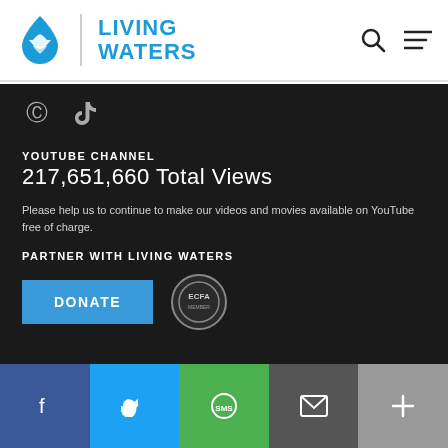[Figure (logo): Living Waters logo with blue water drop icon and text LIVING WATERS in bold blue]
[Figure (other): Search icon (magnifying glass) and hamburger menu icon in the header]
[Figure (other): Parler and TikTok social media icons on dark background]
YOUTUBE CHANNEL
217,651,660 Total Views
Please help us to continue to make our videos and movies available on YouTube free of charge.
PARTNER WITH LIVING WATERS
[Figure (other): DONATE button in blue and ECFA member badge]
[Figure (other): Social share bar with Facebook, Twitter, SMS, Email, and More buttons]